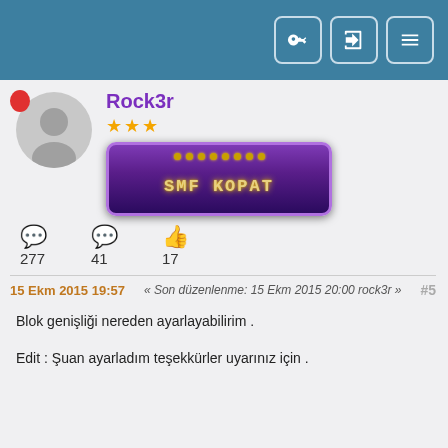Forum page header with navigation buttons
[Figure (screenshot): User avatar placeholder (gray silhouette)]
Rock3r
[Figure (illustration): Three gold stars rating]
[Figure (illustration): Purple badge reading SMF KOPAT]
277
41
17
15 Ekm 2015 19:57  « Son düzenlenme: 15 Ekm 2015 20:00 rock3r »  #5
Blok genişliği nereden ayarlayabilirim .

Edit : Şuan ayarladım teşekkürler uyarınız için .